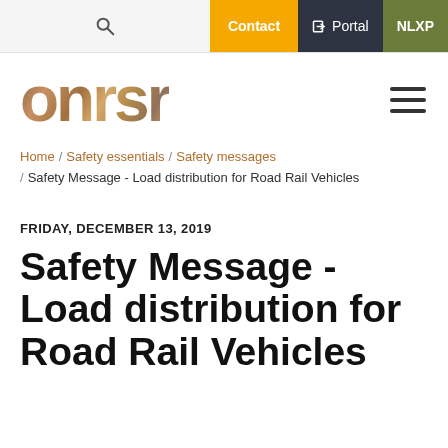Contact | Portal | NLXP
[Figure (logo): ONRSR logo with railway track texture background]
Home / Safety essentials / Safety messages / Safety Message - Load distribution for Road Rail Vehicles
FRIDAY, DECEMBER 13, 2019
Safety Message - Load distribution for Road Rail Vehicles